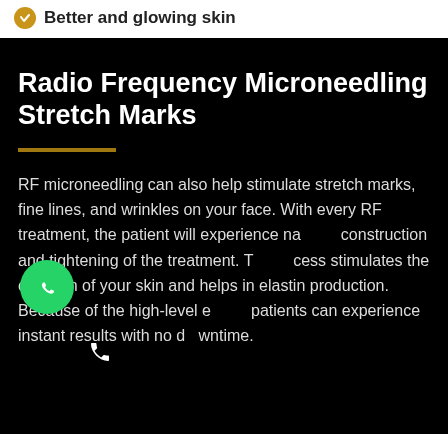Better and glowing skin
Radio Frequency Microneedling Stretch Marks
RF microneedling can also help stimulate stretch marks, fine lines, and wrinkles on your face. With every RF treatment, the patient will experience natural reconstruction and tightening of the treatment. The process stimulates the collagen of your skin and helps in elastin production. Because of the high-level energy, patients can experience instant results with no downtime.